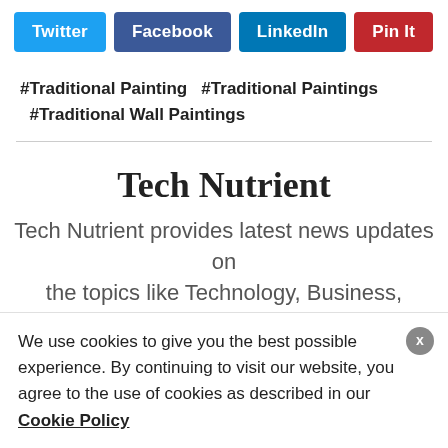[Figure (other): Social share buttons: Twitter (blue), Facebook (dark blue), LinkedIn (teal), Pin It (red)]
#Traditional Painting   #Traditional Paintings   #Traditional Wall Paintings
Tech Nutrient
Tech Nutrient provides latest news updates on the topics like Technology, Business, Entertainment, Marketing, Automotive, Education,
We use cookies to give you the best possible experience. By continuing to visit our website, you agree to the use of cookies as described in our Cookie Policy